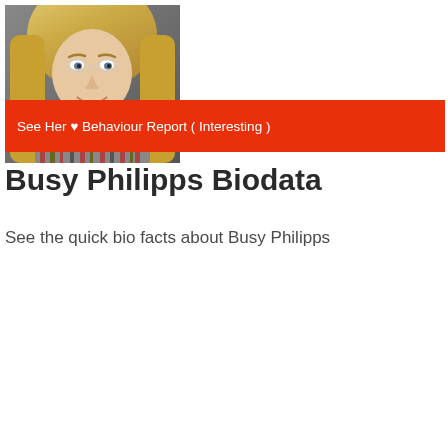[Figure (photo): Photo of Busy Philipps, a blonde woman smiling, wearing a striped top]
See Her ♥ Behaviour Report ( Interesting )
Busy Philipps Biodata
See the quick bio facts about Busy Philipps